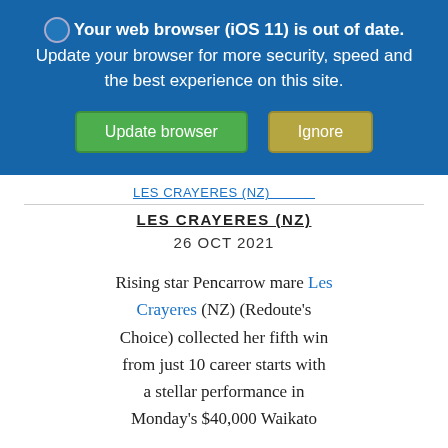Your web browser (iOS 11) is out of date. Update your browser for more security, speed and the best experience on this site.
Update browser | Ignore
LES CRAYERES (NZ)
26 OCT 2021
Rising star Pencarrow mare Les Crayeres (NZ) (Redoute's Choice) collected her fifth win from just 10 career starts with a stellar performance in Monday's $40,000 Waikato